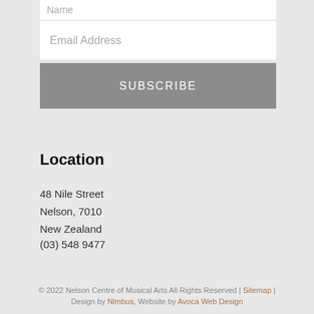Name
Email Address
SUBSCRIBE
Location
48 Nile Street
Nelson, 7010
New Zealand
(03) 548 9477
© 2022 Nelson Centre of Musical Arts All Rights Reserved | Sitemap | Design by Nimbus, Website by Avoca Web Design